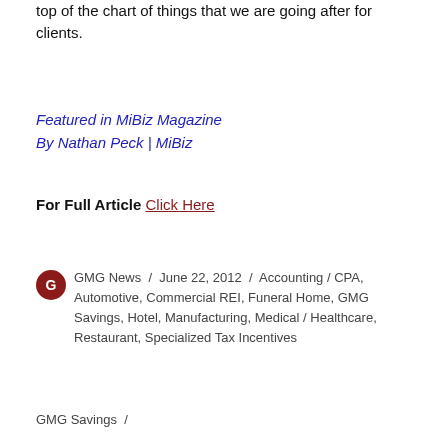top of the chart of things that we are going after for clients.
Featured in MiBiz Magazine
By Nathan Peck | MiBiz
For Full Article Click Here
GMG News / June 22, 2012 / Accounting / CPA, Automotive, Commercial REI, Funeral Home, GMG Savings, Hotel, Manufacturing, Medical / Healthcare, Restaurant, Specialized Tax Incentives
GMG Savings /